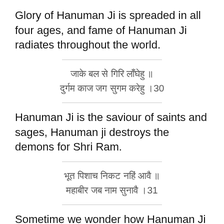Glory of Hanuman Ji is spreaded in all four ages, and fame of Hanuman Ji radiates throughout the world.
॥ Hindi verse line 1 ॥
॥ Hindi verse line 2 ॥30
Hanuman Ji is the saviour of saints and sages, Hanuman ji destroys the demons for Shri Ram.
॥ Hindi verse line 1 ॥
॥ Hindi verse line 2 ॥31
Sometime we wonder how Hanuman Ji was able to